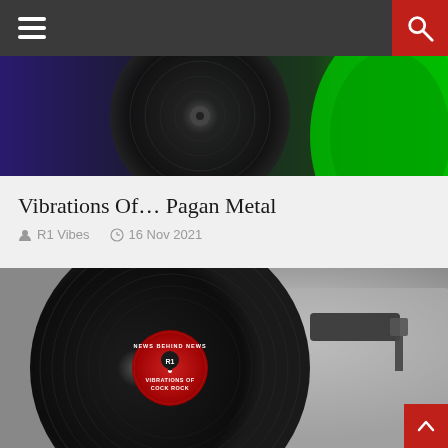Navigation header with hamburger menu and search button
[Figure (photo): Colorful vinyl records banner image with purple, black, and green colors]
Vibrations Of… Pagan Metal
R1 Vibes   16 Nov 2021
[Figure (photo): Close-up photo of a vinyl record on a turntable with a red label reading 'NEWS BEHIND NEWS R1 VIBRATIONS OF COCK ROCK' and a tonearm visible in the background]